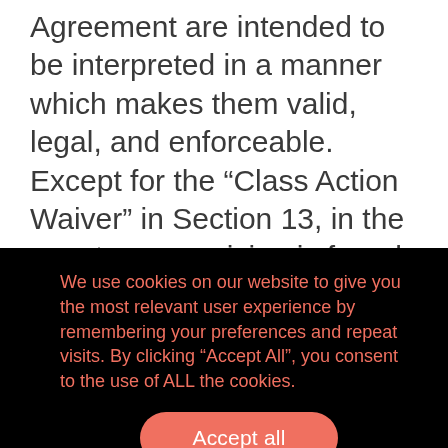Agreement are intended to be interpreted in a manner which makes them valid, legal, and enforceable. Except for the “Class Action Waiver” in Section 13, in the event any provision is found to be partially or wholly invalid, illegal or unenforceable, (i) such provision shall be modified or
We use cookies on our website to give you the most relevant user experience by remembering your preferences and repeat visits. By clicking “Accept All”, you consent to the use of ALL the cookies.
Accept all